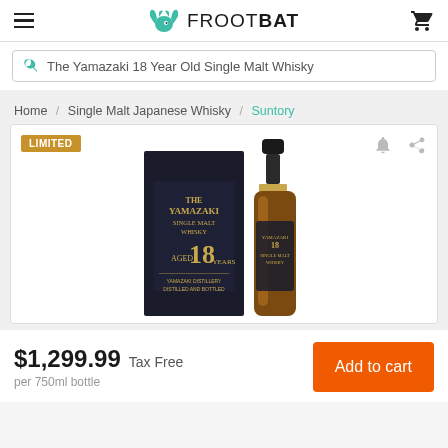FROOTBAT
The Yamazaki 18 Year Old Single Malt Whisky
Home / Single Malt Japanese Whisky / Suntory
[Figure (photo): Product image of The Yamazaki 18 Year Old Single Malt Whisky showing the box and bottle with LIMITED badge]
$1,299.99 Tax Free
per 750ml bottle